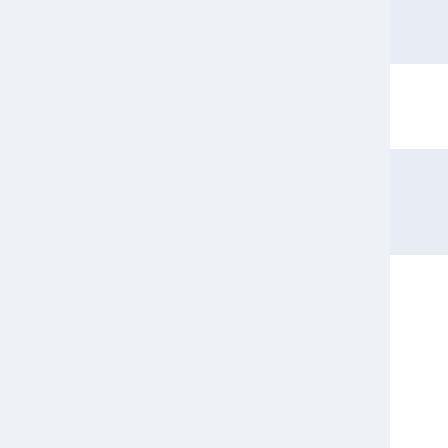| Date | Description |
| --- | --- |
| 10 Sep 2006: | fixed nats... TWiki4.1-s... |
| 31 Aug 2006: | don't call g... you may s... needed |
| 29 Aug 2006: | cleaned up... code distin... dakar; rem... useless no... |
| 25 Aug 2006: | first releas... cairo supp... initialisatio... commandl... removed u... minor rew... fixed natse... web.topic ... documenta... |
| 21 Aug 2006: | removed T... plugin pref... store; inste... twikiTables... now this... |